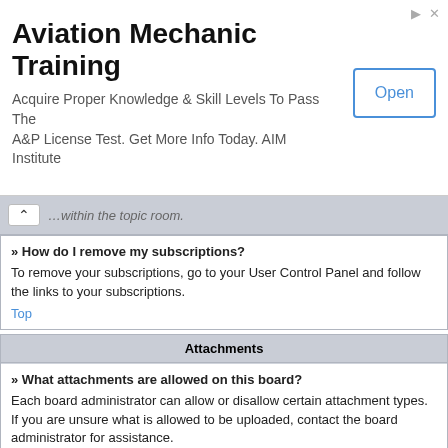[Figure (infographic): Advertisement banner for Aviation Mechanic Training by AIM Institute, with an Open button.]
... within the topic room.
» How do I remove my subscriptions?
To remove your subscriptions, go to your User Control Panel and follow the links to your subscriptions.
Top
Attachments
» What attachments are allowed on this board?
Each board administrator can allow or disallow certain attachment types. If you are unsure what is allowed to be uploaded, contact the board administrator for assistance.
Top
» How do I find all my attachments?
To find your list of attachments that you have uploaded, go to your User Control Panel and follow the links to the attachments section.
Top